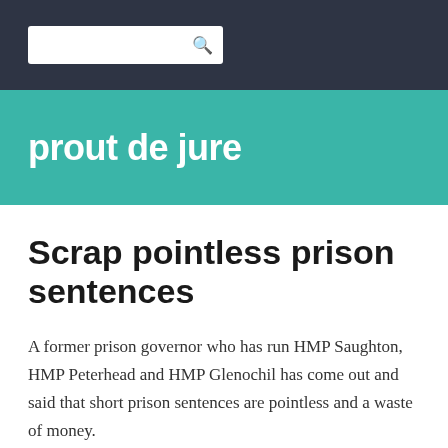[Figure (other): Dark navy navigation bar with a white search input box and search icon]
prout de jure
Scrap pointless prison sentences
A former prison governor who has run HMP Saughton, HMP Peterhead and HMP Glenochil has come out and said that short prison sentences are pointless and a waste of money.